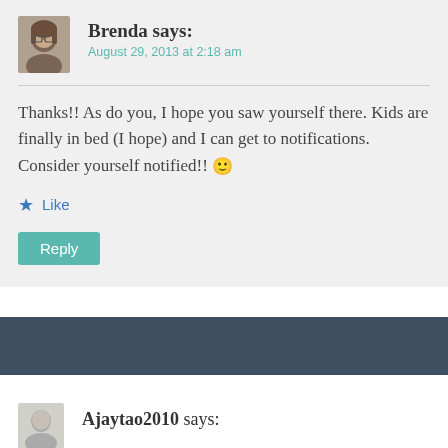Brenda says:
August 29, 2013 at 2:18 am
Thanks!! As do you, I hope you saw yourself there. Kids are finally in bed (I hope) and I can get to notifications. Consider yourself notified!! 🙂
Like
Reply
Ajaytao2010 says: